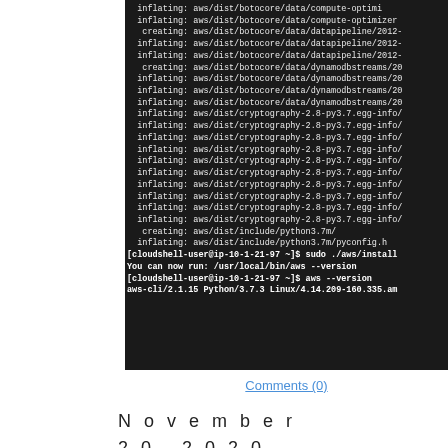[Figure (screenshot): Terminal/command-line screenshot showing AWS CLI installation output including inflating and creating lines for botocore, cryptography, and include directories, followed by sudo ./aws/install command, success message, aws --version command, and version output aws-cli/2.1.15 Python/3.7.3 Linux/4.14.209-160.335.am]
Comments (0)
November
20, 2020